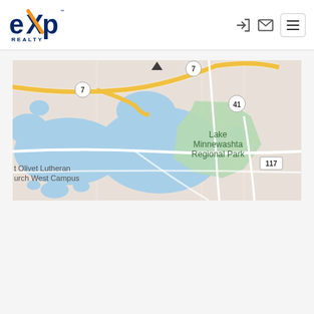[Figure (logo): eXp Realty logo — 'eXp' in blue with orange X, 'REALTY' below]
[Figure (map): Google Maps screenshot showing Lake Minnewashta Regional Park area with roads 7, 41, 117 and blue water bodies. Text labels: 'Lake Minnewashta Regional Park', 'Mount Olivet Lutheran Church West Campus', route numbers 7, 41, 117.]